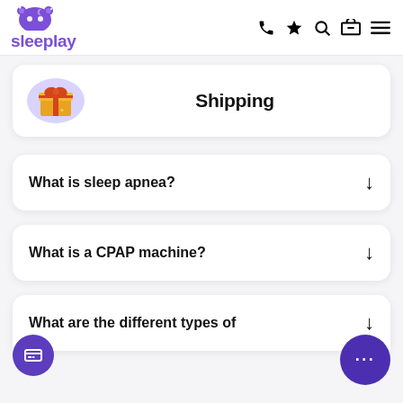sleeplay
[Figure (illustration): Gift box icon with purple blob background, next to Shipping label]
Shipping
What is sleep apnea?
What is a CPAP machine?
What are the different types of